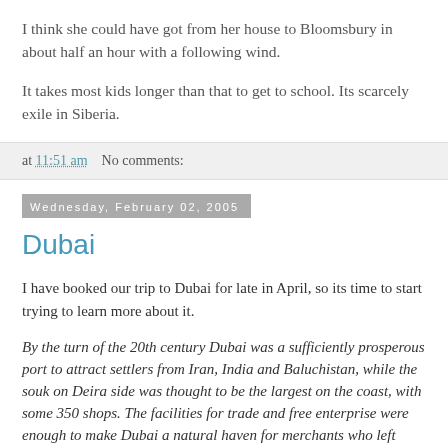I think she could have got from her house to Bloomsbury in about half an hour with a following wind.
It takes most kids longer than that to get to school. Its scarcely exile in Siberia.
at 11:51 am   No comments:
Wednesday, February 02, 2005
Dubai
I have booked our trip to Dubai for late in April, so its time to start trying to learn more about it.
By the turn of the 20th century Dubai was a sufficiently prosperous port to attract settlers from Iran, India and Baluchistan, while the souk on Deira side was thought to be the largest on the coast, with some 350 shops. The facilities for trade and free enterprise were enough to make Dubai a natural haven for merchants who left Lingah, on the Persian